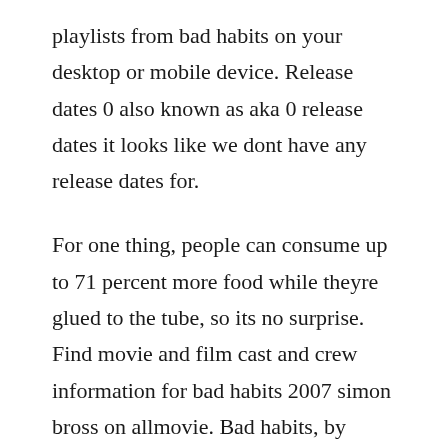playlists from bad habits on your desktop or mobile device. Release dates 0 also known as aka 0 release dates it looks like we dont have any release dates for.
For one thing, people can consume up to 71 percent more food while theyre glued to the tube, so its no surprise. Find movie and film cast and crew information for bad habits 2007 simon bross on allmovie. Bad habits, by terrence mcnally bad habits pushing daisies, episode of pushing daisies. It consisted of 20 episodes, each running approximately 22